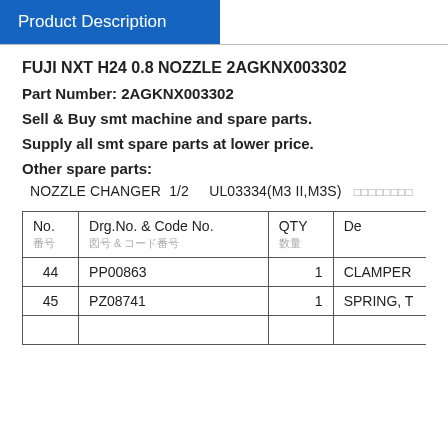Product Description
FUJI NXT H24 0.8 NOZZLE 2AGKNX003302
Part Number: 2AGKNX003302
Sell & Buy smt machine and spare parts.
Supply all smt spare parts at lower price.
Other spare parts:
NOZZLE CHANGER  1/2    UL03334(M3 II,M3S)   oooooooo
| No.
番号 | Drg.No. & Code No.
図号 & コード番号 | QTY
数量 | De |
| --- | --- | --- | --- |
| 44 | PP00863 | 1 | CLAMPER |
| 45 | PZ08741 | 1 | SPRING, T |
|  |  |  |  |